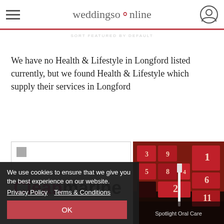weddingsonline
We have no Health & Lifestyle in Longford listed currently, but we found Health & Lifestyle which supply their services in Longford
[Figure (logo): Cleanmarine logo in pink and dark text]
[Figure (photo): Spotlight Oral Care advent calendar boxes in red with numbers]
We use cookies to ensure that we give you the best experience on our website.
Privacy Policy   Terms & Conditions
OK